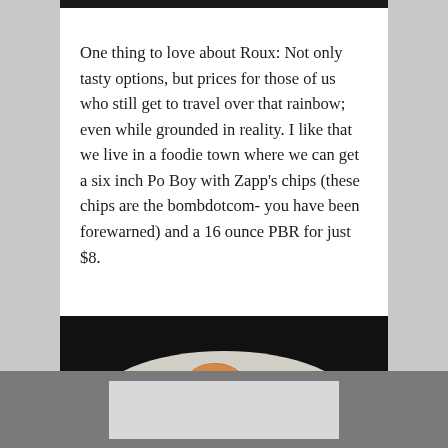[Figure (photo): Top portion of a food photo visible at the top of the page, dark background]
One thing to love about Roux: Not only tasty options, but prices for those of us who still get to travel over that rainbow; even while grounded in reality. I like that we live in a foodie town where we can get a six inch Po Boy with Zapp's chips (these chips are the bombdotcom- you have been forewarned) and a 16 ounce PBR for just $8.
[Figure (photo): Food photo showing cooked meat medallions on a white plate with vegetables and sauce, dark background]
[Figure (other): Gray advertisement bar at the bottom with a light gray rectangle placeholder]